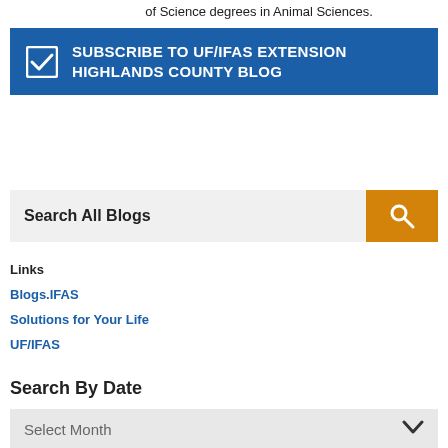of Science degrees in Animal Sciences.
SUBSCRIBE TO UF/IFAS EXTENSION HIGHLANDS COUNTY BLOG
[Figure (screenshot): Search All Blogs input box with orange search button]
Links
Blogs.IFAS
Solutions for Your Life
UF/IFAS
Search By Date
Select Month